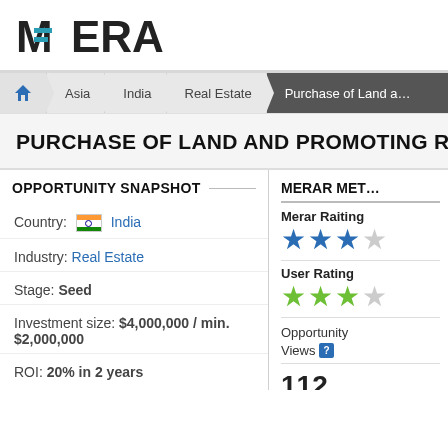MERAR
Home > Asia > India > Real Estate > Purchase of Land a…
PURCHASE OF LAND AND PROMOTING RESIDE…
OPPORTUNITY SNAPSHOT
Country: India
Industry: Real Estate
Stage: Seed
Investment size: $4,000,000 / min. $2,000,000
ROI: 20% in 2 years
MERAR MET…
Merar Raiting
★★★ (2.5/5 blue stars)
User Rating
★★★ (3/5 green stars)
Opportunity Views ?
112